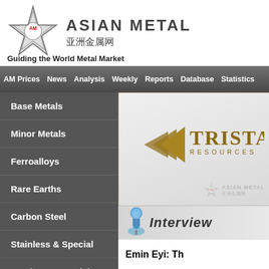[Figure (logo): Asian Metal logo with star and Chinese text 亚洲金属网]
Guiding the World Metal Market
AM Prices | News | Analysis | Weekly | Reports | Database | Statistics
Base Metals
Minor Metals
Ferroalloys
Rare Earths
Carbon Steel
Stainless & Special
Steel Raw Materials
[Figure (logo): Tristar Resources logo with golden arrow shapes and company name]
Interview
Emin Eyi: Th